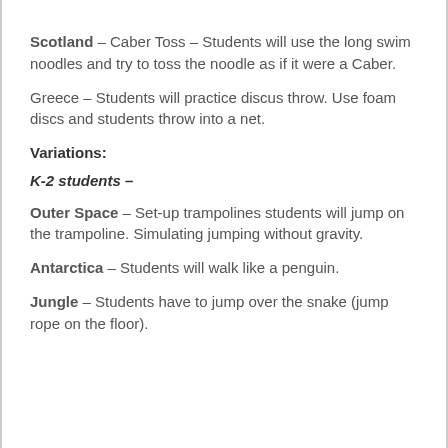(truncated top text)
Scotland – Caber Toss – Students will use the long swim noodles and try to toss the noodle as if it were a Caber.
Greece – Students will practice discus throw. Use foam discs and students throw into a net.
Variations:
K-2 students –
Outer Space – Set-up trampolines students will jump on the trampoline. Simulating jumping without gravity.
Antarctica – Students will walk like a penguin.
Jungle – Students have to jump over the snake (jump rope on the floor).